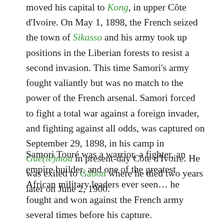moved his capital to Kong, in upper Cote d'Ivoire. On May 1, 1898, the French seized the town of Sikasso and his army took up positions in the Liberian forests to resist a second invasion. This time Samori's army fought valiantly but was no match to the power of the French arsenal. Samori forced to fight a total war against a foreign invader, and fighting against all odds, was captured on September 29, 1898, in his camp in Gué(lé)mou in present-day Côte d'Ivoire. He was exiled to Gabon where he died two years later on June 2, 1900.
Samori Touré was a warrior, a fighter, an empire builder, and one of the greatest African military leaders ever seen… he fought and won against the French army several times before his capture.